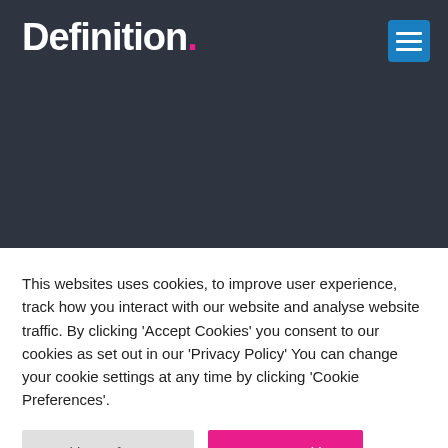Definition.
This websites uses cookies, to improve user experience, track how you interact with our website and analyse website traffic. By clicking ‘Accept Cookies’ you consent to our cookies as set out in our ‘Privacy Policy’ You can change your cookie settings at any time by clicking ‘Cookie Preferences’.
Cookie Preferences
Accept Cookies